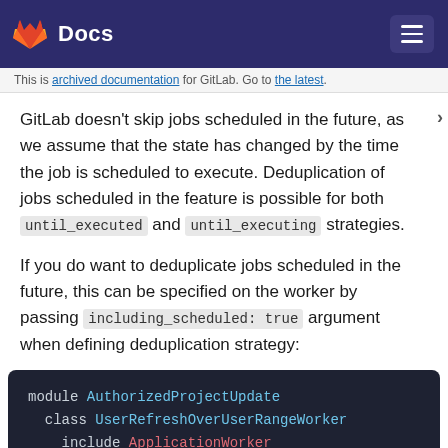Docs
This is archived documentation for GitLab. Go to the latest.
GitLab doesn't skip jobs scheduled in the future, as we assume that the state has changed by the time the job is scheduled to execute. Deduplication of jobs scheduled in the feature is possible for both until_executed and until_executing strategies.
If you do want to deduplicate jobs scheduled in the future, this can be specified on the worker by passing including_scheduled: true argument when defining deduplication strategy:
[Figure (screenshot): Code block showing Ruby module definition: module AuthorizedProjectUpdate, class UserRefreshOverUserRangeWorker, include ApplicationWorker]